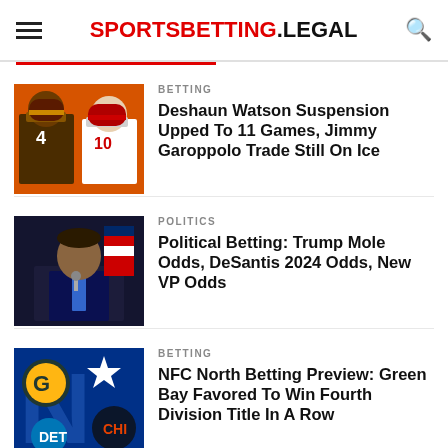SPORTSBETTING.LEGAL
BETTING
Deshaun Watson Suspension Upped To 11 Games, Jimmy Garoppolo Trade Still On Ice
POLITICS
Political Betting: Trump Mole Odds, DeSantis 2024 Odds, New VP Odds
BETTING
NFC North Betting Preview: Green Bay Favored To Win Fourth Division Title In A Row